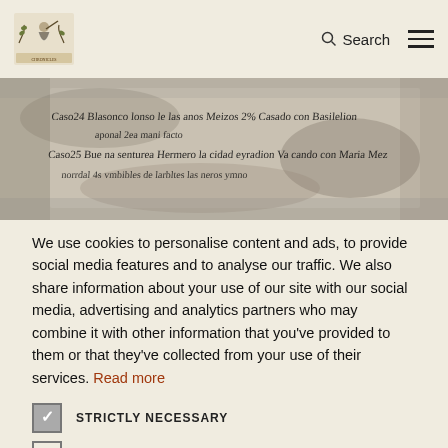Search
[Figure (photo): Scanned historical manuscript page showing handwritten text in Spanish, circa colonial period. Lines of cursive script visible with entries labeled 'Caso 24' and 'Caso 25'.]
We use cookies to personalise content and ads, to provide social media features and to analyse our traffic. We also share information about your use of our site with our social media, advertising and analytics partners who may combine it with other information that you've provided to them or that they've collected from your use of their services. Read more
STRICTLY NECESSARY
TARGETING
UNCLASSIFIED
ACCEPT ALL
DECLINE ALL
SHOW DETAILS